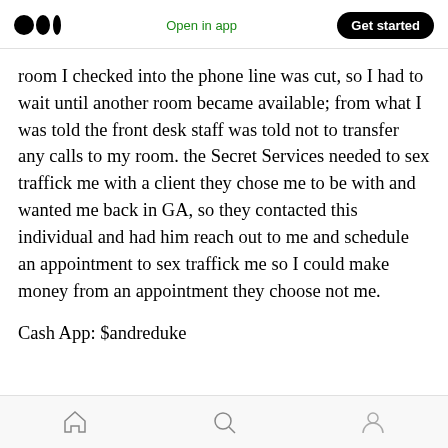Medium logo | Open in app | Get started
room I checked into the phone line was cut, so I had to wait until another room became available; from what I was told the front desk staff was told not to transfer any calls to my room. the Secret Services needed to sex traffick me with a client they chose me to be with and wanted me back in GA, so they contacted this individual and had him reach out to me and schedule an appointment to sex traffick me so I could make money from an appointment they choose not me.
Cash App: $andreduke
Home | Search | Profile